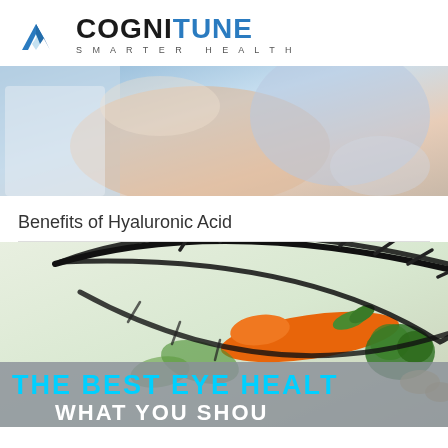[Figure (logo): CogniTune Smarter Health logo with blue chevron/mountain icon and bold text]
[Figure (photo): Close-up photo of a medical professional examining a patient, muted blue and skin tones]
Benefits of Hyaluronic Acid
[Figure (illustration): Infographic with illustrated eye outline overlaid on vegetables (carrot, broccoli), with text THE BEST EYE HEALTH and WHAT YOU SHOULD]